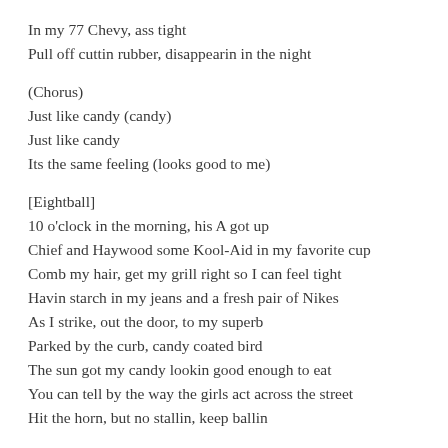In my 77 Chevy, ass tight
Pull off cuttin rubber, disappearin in the night
(Chorus)
Just like candy (candy)
Just like candy
Its the same feeling (looks good to me)
[Eightball]
10 o'clock in the morning, his A got up
Chief and Haywood some Kool-Aid in my favorite cup
Comb my hair, get my grill right so I can feel tight
Havin starch in my jeans and a fresh pair of Nikes
As I strike, out the door, to my superb
Parked by the curb, candy coated bird
The sun got my candy lookin good enough to eat
You can tell by the way the girls act across the street
Hit the horn, but no stallin, keep ballin